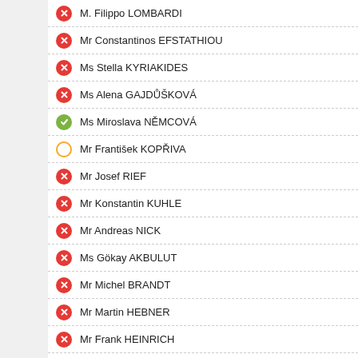M. Filippo LOMBARDI
Mr Constantinos EFSTATHIOU
Ms Stella KYRIAKIDES
Ms Alena GAJDŮŠKOVÁ
Ms Miroslava NĚMCOVÁ
Mr František KOPŘIVA
Mr Josef RIEF
Mr Konstantin KUHLE
Mr Andreas NICK
Ms Gökay AKBULUT
Mr Michel BRANDT
Mr Martin HEBNER
Mr Frank HEINRICH
Mr Ulrich OEHME
Mr Frank SCHWABE
Mr Andrej HUNKO
Mr Axel SCHÄFER